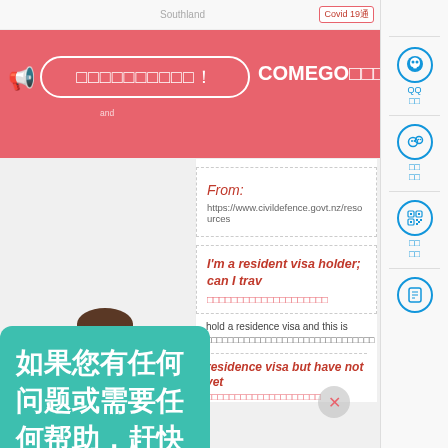Covid19通知
[Figure (screenshot): App announcement banner with speaker icon, pill-shaped button with Chinese characters, and COMEGO text on pink/red background]
From:
https://www.civildefence.govt.nz/resources
I'm a resident visa holder; can I trav
Chinese characters (subheading in red/pink)
hold a residence visa and this is
Chinese characters (answer text)
residence visa but have not yet
Chinese characters (second answer)
[Figure (illustration): Cartoon avatar of a girl with brown hair and gray hoodie]
如果您有任何问题或需要任何帮助，赶快联系我们吧！
[Figure (screenshot): Right sidebar with QQ, WeChat, QR code and other social/contact icons in blue]